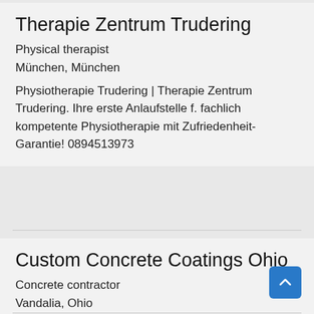Therapie Zentrum Trudering
Physical therapist
München, München
Physiotherapie Trudering | Therapie Zentrum Trudering. Ihre erste Anlaufstelle f. fachlich kompetente Physiotherapie mit Zufriedenheit-Garantie! 0894513973
Custom Concrete Coatings Ohio
Concrete contractor
Vandalia, Ohio
Epoxy Flooring Troy, Ohio